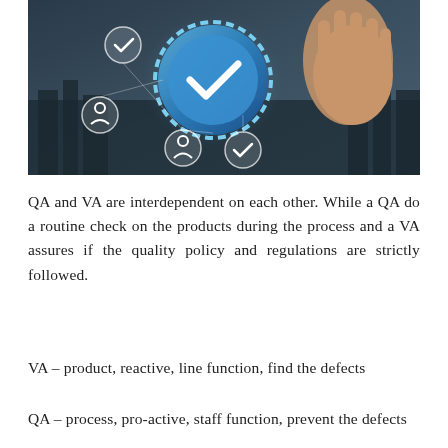[Figure (photo): A hand pointing at a glowing blue globe/gear icon with a checkmark, surrounded by floating circular icons representing quality assurance concepts such as people, documents, and check marks, against a dark background.]
QA and VA are interdependent on each other. While a QA do a routine check on the products during the process and a VA assures if the quality policy and regulations are strictly followed.
VA – product, reactive, line function, find the defects
QA – process, pro-active, staff function, prevent the defects